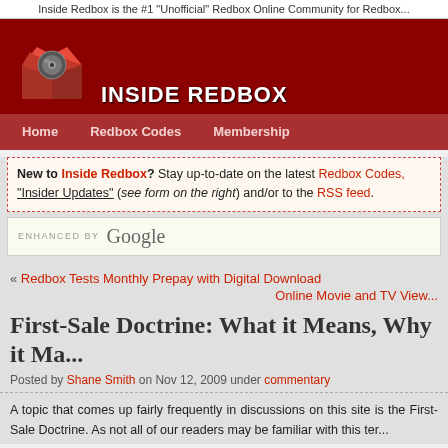Inside Redbox is the #1 "Unofficial" Redbox Online Community for Redbox...
[Figure (logo): Inside Redbox logo: red open box with DVD disc inside, white text INSIDE REDBOX below]
Home   Redbox Codes   Membership
New to Inside Redbox? Stay up-to-date on the latest Redbox Codes, "Insider Updates" (see form on the right) and/or to the RSS feed.
ENHANCED BY Google
« Redbox Tests Monthly Prepay with Digital Download
Online Movie and TV View...
First-Sale Doctrine: What it Means, Why it Ma...
Posted by Shane Smith on Nov 12, 2009 under commentary
A topic that comes up fairly frequently in discussions on this site is the First-Sale Doctrine. As not all of our readers may be familiar with this term, we thought they deserved a look inside the site and what it could...